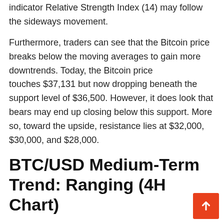indicator Relative Strength Index (14) may follow the sideways movement.
Furthermore, traders can see that the Bitcoin price breaks below the moving averages to gain more downtrends. Today, the Bitcoin price touches $37,131 but now dropping beneath the support level of $36,500. However, it does look that bears may end up closing below this support. More so, toward the upside, resistance lies at $32,000, $30,000, and $28,000.
BTC/USD Medium-Term Trend: Ranging (4H Chart)
The 4-hour chart shows that the Bitcoin bears are now stepping back into the market pushing the BTC price below its previous support level that existed around $37,000. Although the Bitcoin price has not yet slipped below $36,500, it's still in the loop of making a